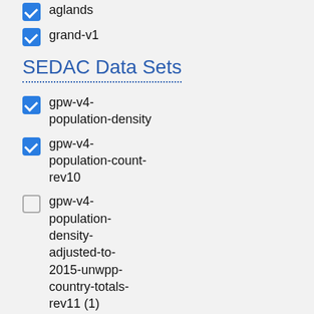aglands
grand-v1
SEDAC Data Sets
gpw-v4-population-density
gpw-v4-population-count-rev10
gpw-v4-population-density-adjusted-to-2015-unwpp-country-totals-rev11 (1)
wildareas-v2-human-footprint-geographic (1)